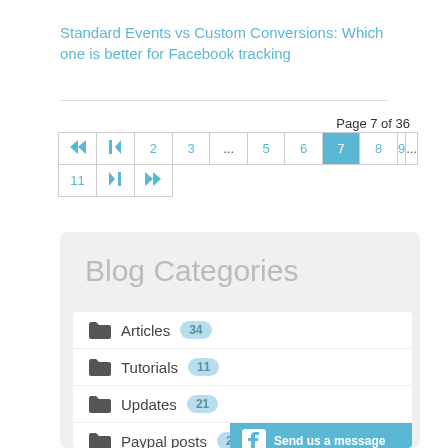Standard Events vs Custom Conversions: Which one is better for Facebook tracking
Page 7 of 36
[Figure (other): Pagination control showing pages: first, prev, 2, 3, ..., 5, 6, 7 (current), 8, 9, ..., then second row: 11, next, last]
Blog Categories
Articles 34
Tutorials 11
Updates 21
Paypal posts 23